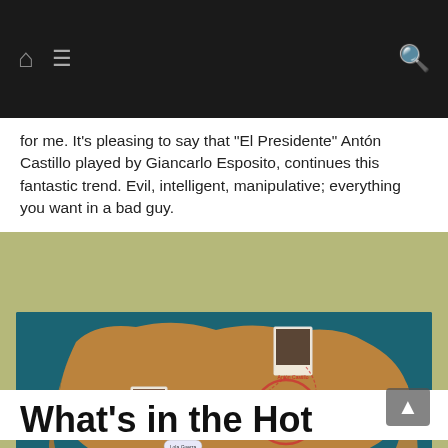[Navigation bar with home icon, hamburger menu, search icon]
for me. It’s pleasing to say that “El Presidente” Antón Castillo played by Giancarlo Esposito, continues this fantastic trend. Evil, intelligent, manipulative; everything you want in a bad guy.
[Figure (map): A stylized game map showing different regions of what appears to be a fictional island nation (Far Cry 6 map), with character portraits placed at various locations. Regions include Esperanza, Madrugada, Valle de Oro. Character cards are pinned at various points on the map.]
What’s in the Hot